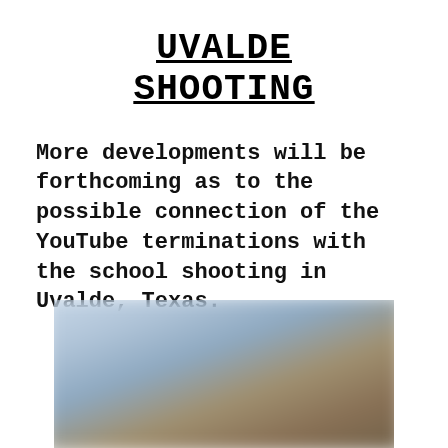UVALDE SHOOTING
More developments will be forthcoming as to the possible connection of the YouTube terminations with the school shooting in Uvalde, Texas.
[Figure (photo): A blurred photograph, showing indistinct outdoor scene with blue sky and brown/tan ground elements.]